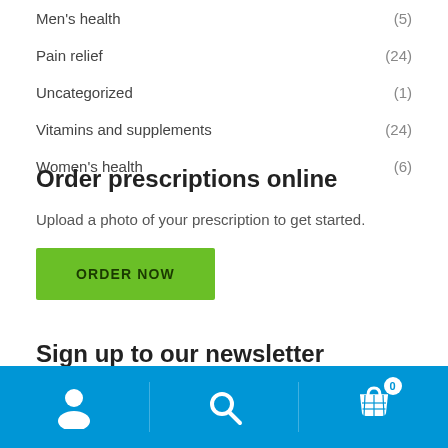Men's health (5)
Pain relief (24)
Uncategorized (1)
Vitamins and supplements (24)
Women's health (6)
Order prescriptions online
Upload a photo of your prescription to get started.
ORDER NOW
Sign up to our newsletter
Navigation bar with user, search, and cart (0) icons